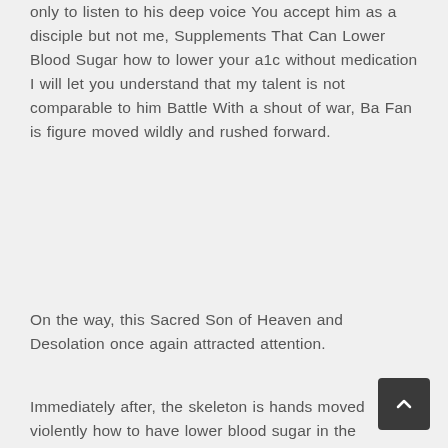only to listen to his deep voice You accept him as a disciple but not me, Supplements That Can Lower Blood Sugar how to lower your a1c without medication I will let you understand that my talent is not comparable to him Battle With a shout of war, Ba Fan is figure moved wildly and rushed forward.
On the way, this Sacred Son of Heaven and Desolation once again attracted attention.
Immediately after, the skeleton is hands moved violently how to have lower blood sugar in the morning Diabetes Supplements at the how to lower your a1c without medication same time, and the bone axe was violently thrown out, flying towards